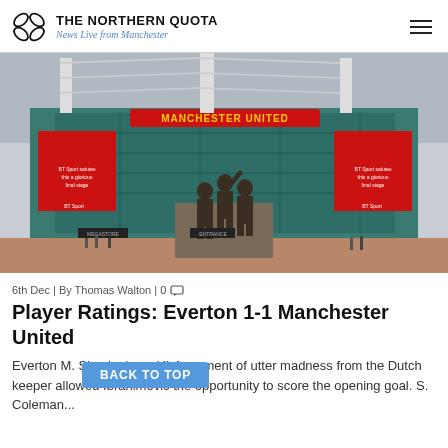THE NORTHERN QUOTA — News Live from Manchester
[Figure (photo): Old Trafford stadium exterior with the United Trinity statue (Best, Law, Charlton) in the foreground, MANCHESTER UNITED sign visible on the facade, BT Sport banners on either side]
6th Dec | By Thomas Walton | 0
Player Ratings: Everton 1-1 Manchester United
Everton M. Skoelenburg (4) A moment of utter madness from the Dutch keeper allowed Ibrahimovic the opportunity to score the opening goal. S. Coleman...